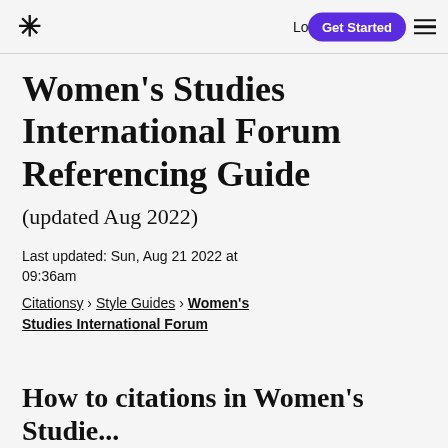* Log In  Get Started  ☰
Women's Studies International Forum Referencing Guide
(updated Aug 2022)
Last updated: Sun, Aug 21 2022 at 09:36am
Citationsy › Style Guides › Women's Studies International Forum
How to citations in Women's Studie...